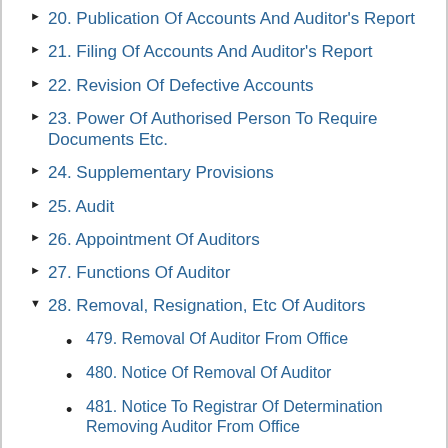20. Publication Of Accounts And Auditor's Report
21. Filing Of Accounts And Auditor's Report
22. Revision Of Defective Accounts
23. Power Of Authorised Person To Require Documents Etc.
24. Supplementary Provisions
25. Audit
26. Appointment Of Auditors
27. Functions Of Auditor
28. Removal, Resignation, Etc Of Auditors
479. Removal Of Auditor From Office
480. Notice Of Removal Of Auditor
481. Notice To Registrar Of Determination Removing Auditor From Office
482. Rights Of Auditor Who Has Been Removed From Office
483. Failure To Re-Appoint Auditor: Rights Of